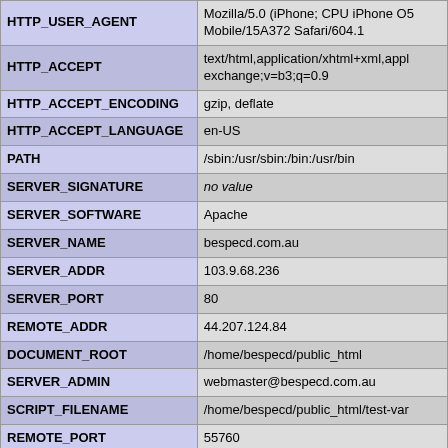| Variable | Value |
| --- | --- |
| HTTP_USER_AGENT | Mozilla/5.0 (iPhone; CPU iPhone OS Mobile/15A372 Safari/604.1 |
| HTTP_ACCEPT | text/html,application/xhtml+xml,appl exchange;v=b3;q=0.9 |
| HTTP_ACCEPT_ENCODING | gzip, deflate |
| HTTP_ACCEPT_LANGUAGE | en-US |
| PATH | /sbin:/usr/sbin:/bin:/usr/bin |
| SERVER_SIGNATURE | no value |
| SERVER_SOFTWARE | Apache |
| SERVER_NAME | bespecd.com.au |
| SERVER_ADDR | 103.9.68.236 |
| SERVER_PORT | 80 |
| REMOTE_ADDR | 44.207.124.84 |
| DOCUMENT_ROOT | /home/bespecd/public_html |
| SERVER_ADMIN | webmaster@bespecd.com.au |
| SCRIPT_FILENAME | /home/bespecd/public_html/test-var |
| REMOTE_PORT | 55760 |
| GATEWAY_INTERFACE | CGI/1.1 |
| SERVER_PROTOCOL | HTTP/1.1 |
| REQUEST_METHOD | GET |
| QUERY_STRING | a%5B%5D=kratom%3B+%3Ca+hre |
| REQUEST_URI | /test-vars.php?a%5B%5D=kratom% |